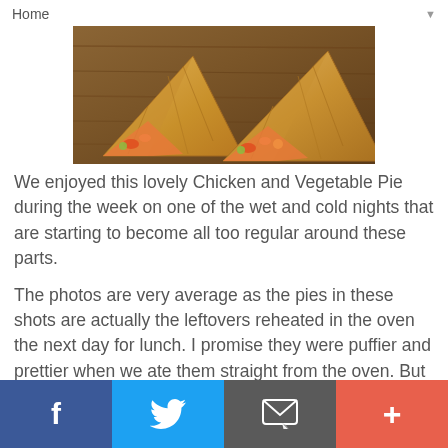Home ▼
[Figure (photo): Chicken and vegetable pies on a wooden board, showing flaky golden pastry with vegetable filling visible]
We enjoyed this lovely Chicken and Vegetable Pie during the week on one of the wet and cold nights that are starting to become all too regular around these parts.
The photos are very average as the pies in these shots are actually the leftovers reheated in the oven the next day for lunch.  I promise they were puffier and prettier when we ate them straight from the oven.  But the quickly diminishing evening light makes it impossible to take any decent photos of our dinners. But the pie was so good I didn't want to wait until the next time I made it to share with you.  I'll endeavour to take better photos the next time I make it!
Compared to other chicken pies I've made in the past, this one is loaded with veggies and yet it still has enough flavour